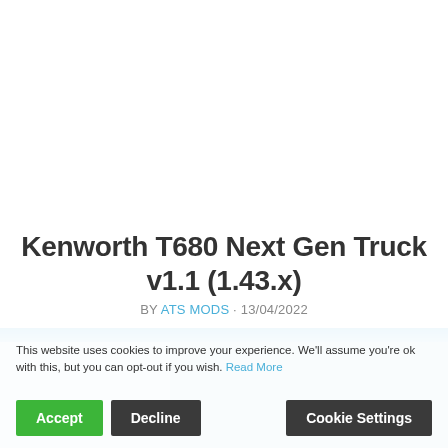Kenworth T680 Next Gen Truck v1.1 (1.43.x)
BY ATS MODS · 13/04/2022
This website uses cookies to improve your experience. We'll assume you're ok with this, but you can opt-out if you wish. Read More
[Figure (screenshot): Cookie consent bar overlay on a webpage showing a Kenworth truck image in the background with a light blue stripe at top. Three buttons: Accept (green), Decline (dark), Cookie Settings (dark).]